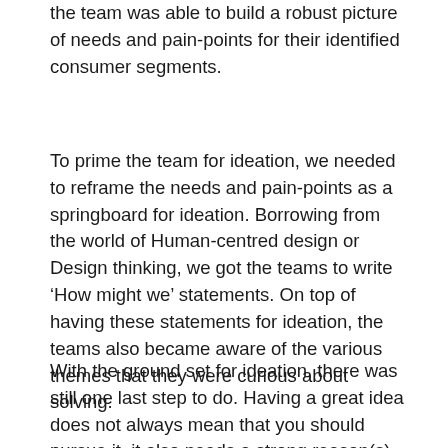the team was able to build a robust picture of needs and pain-points for their identified consumer segments.
To prime the team for ideation, we needed to reframe the needs and pain-points as a springboard for ideation. Borrowing from the world of Human-centred design or Design thinking, we got the teams to write ‘How might we’ statements. On top of having these statements for ideation, the teams also became aware of the various themes that they were curious about solving.
With the ground set for ideation, there was still one last step to do. Having a great idea does not always mean that you should pursue it, it also needs a strong reason(s) to believe that your